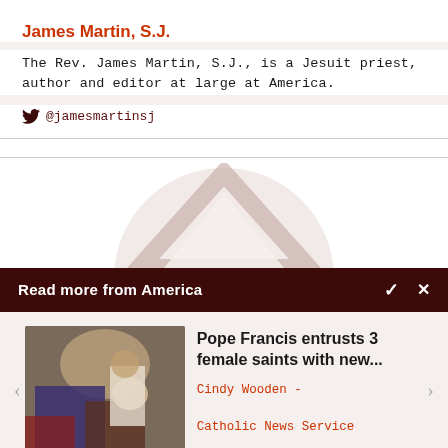James Martin, S.J.
The Rev. James Martin, S.J., is a Jesuit priest, author and editor at large at America.
@jamesmartinsj
[Figure (logo): America magazine logo — large circular watermark with stylized 'A' triangle shape in pale pink/rose on white background]
Read more from America
[Figure (photo): Photo of Pope Francis meeting with a group of people, seated, viewed from behind]
Pope Francis entrusts 3 female saints with new...
Cindy Wooden -
Catholic News Service